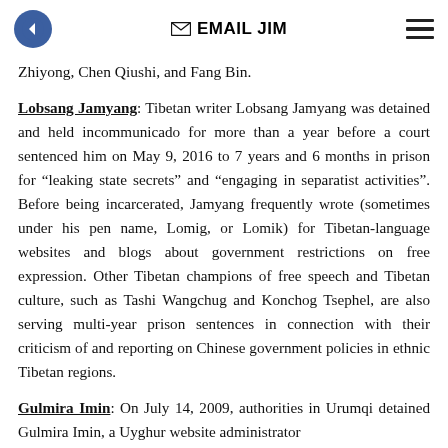EMAIL JIM
Zhiyong, Chen Qiushi, and Fang Bin.
Lobsang Jamyang: Tibetan writer Lobsang Jamyang was detained and held incommunicado for more than a year before a court sentenced him on May 9, 2016 to 7 years and 6 months in prison for “leaking state secrets” and “engaging in separatist activities”. Before being incarcerated, Jamyang frequently wrote (sometimes under his pen name, Lomig, or Lomik) for Tibetan-language websites and blogs about government restrictions on free expression. Other Tibetan champions of free speech and Tibetan culture, such as Tashi Wangchug and Konchog Tsephel, are also serving multi-year prison sentences in connection with their criticism of and reporting on Chinese government policies in ethnic Tibetan regions.
Gulmira Imin: On July 14, 2009, authorities in Urumqi detained Gulmira Imin, a Uyghur website administrator